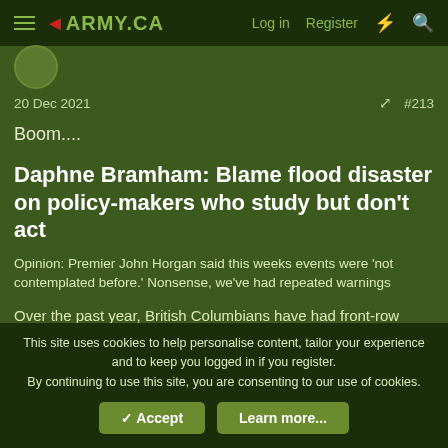army.ca — Log in  Register
20 Dec 2021  #213
Boom....
Daphne Bramham: Blame flood disaster on policy-makers who study but don't act
Opinion: Premier John Horgan said this weeks events were 'not contemplated before.' Nonsense, we've had repeated warnings
Over the past year, British Columbians have had front-row seats to the grim reality of climate disasters.
This site uses cookies to help personalise content, tailor your experience and to keep you logged in if you register.
By continuing to use this site, you are consenting to our use of cookies.